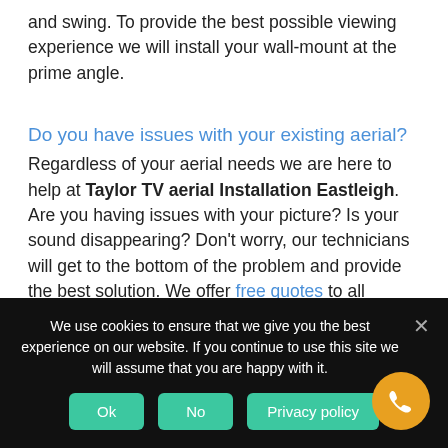and swing. To provide the best possible viewing experience we will install your wall-mount at the prime angle.
Do you have issues with your existing aerial?
Regardless of your aerial needs we are here to help at Taylor TV aerial Installation Eastleigh. Are you having issues with your picture? Is your sound disappearing? Don't worry, our technicians will get to the bottom of the problem and provide the best solution. We offer free quotes to all prospective clients and are happy to provide same day or next day
We use cookies to ensure that we give you the best experience on our website. If you continue to use this site we will assume that you are happy with it.